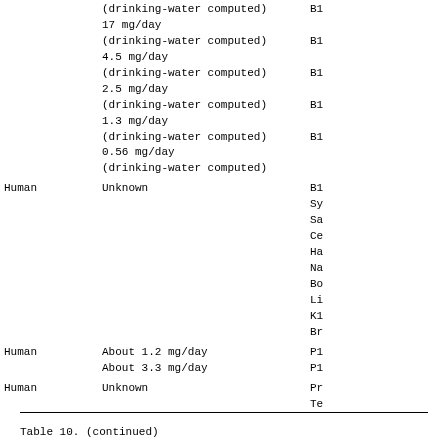|  | (drinking-water computed)
17 mg/day
(drinking-water computed)
4.5 mg/day
(drinking-water computed)
2.5 mg/day
(drinking-water computed)
1.3 mg/day
(drinking-water computed)
0.56 mg/day
(drinking-water computed) | B1...
B1...
B1...
B1...
B1... |
| Human | Unknown | B1...
Sy...
Sa...
Ce...
Ha...
Na...
Bo...
Li...
K1...
Br... |
| Human | About 1.2 mg/day
About 3.3 mg/day | P1...
P1... |
| Human | Unknown | Pr...
Te... |
Table 10.  (continued)